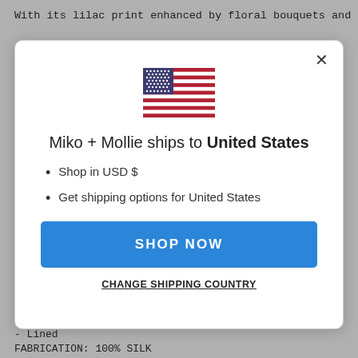With its lilac print enhanced by floral bouquets and
[Figure (screenshot): Modal dialog showing US flag, text 'Miko + Mollie ships to United States', bullet points for USD and shipping options, Shop Now button, and Change Shipping Country link]
- Lined
FABRICATION: 100% SILK